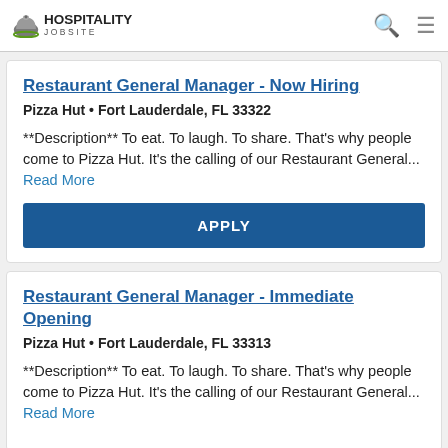HOSPITALITY JOBSITE
Restaurant General Manager - Now Hiring
Pizza Hut • Fort Lauderdale, FL 33322
**Description** To eat. To laugh. To share. That's why people come to Pizza Hut. It's the calling of our Restaurant General... Read More
APPLY
Restaurant General Manager - Immediate Opening
Pizza Hut • Fort Lauderdale, FL 33313
**Description** To eat. To laugh. To share. That's why people come to Pizza Hut. It's the calling of our Restaurant General... Read More